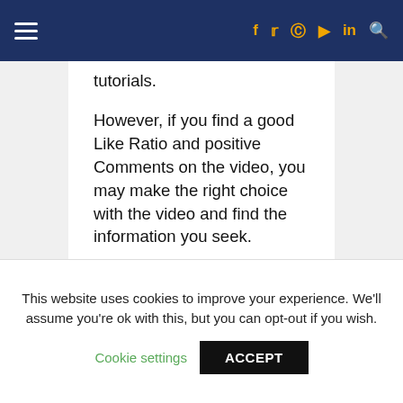navigation bar with hamburger menu and social icons: f, twitter, pinterest, youtube, in, search
tutorials.
However, if you find a good Like Ratio and positive Comments on the video, you may make the right choice with the video and find the information you seek.
Quality varies on differents channels and persons a lot but you get everything for free
This website uses cookies to improve your experience. We'll assume you're ok with this, but you can opt-out if you wish.
Cookie settings
ACCEPT